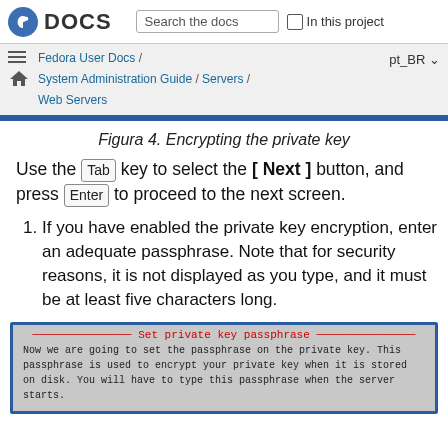DOCS | Search the docs | In this project
Fedora User Docs / System Administration Guide / Servers / Web Servers | pt_BR
Figura 4. Encrypting the private key
Use the Tab key to select the [ Next ] button, and press Enter to proceed to the next screen.
If you have enabled the private key encryption, enter an adequate passphrase. Note that for security reasons, it is not displayed as you type, and it must be at least five characters long.
[Figure (screenshot): Terminal dialog titled 'Set private key passphrase' showing text: Now we are going to set the passphrase on the private key. This passphrase is used to encrypt your private key when it is stored on disk. You will have to type this passphrase when the server starts.]